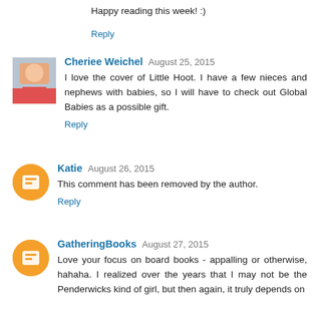Happy reading this week! :)
Reply
Cheriee Weichel  August 25, 2015
I love the cover of Little Hoot. I have a few nieces and nephews with babies, so I will have to check out Global Babies as a possible gift.
Reply
Katie  August 26, 2015
This comment has been removed by the author.
Reply
GatheringBooks  August 27, 2015
Love your focus on board books - appalling or otherwise, hahaha. I realized over the years that I may not be the Penderwicks kind of girl, but then again, it truly depends on